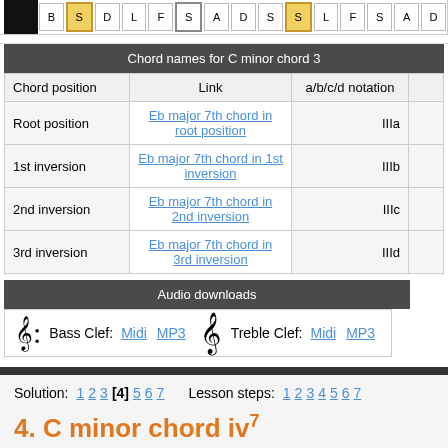| Chord position | Link | a/b/c/d notation | F |
| --- | --- | --- | --- |
| Root position | Eb major 7th chord in root position | IIIa |  |
| 1st inversion | Eb major 7th chord in 1st inversion | IIIb |  |
| 2nd inversion | Eb major 7th chord in 2nd inversion | IIIc |  |
| 3rd inversion | Eb major 7th chord in 3rd inversion | IIId |  |
| Bass Clef | Midi | MP3 | Treble Clef | Midi | MP3 |
| --- | --- | --- | --- | --- | --- |
Solution: 1 2 3 [4] 5 6 7    Lesson steps: 1 2 3 4 5 6 7
4. C minor chord iv7
This step shows the subdominant 7th chord of the C minor scale.